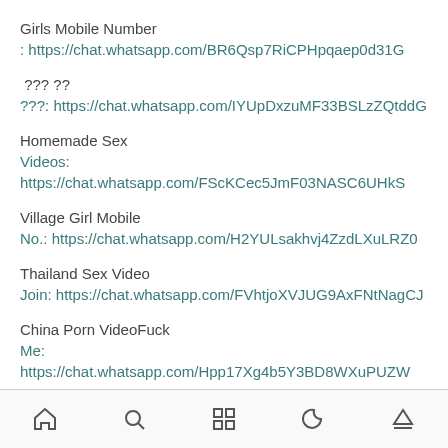Girls Mobile Number
: https://chat.whatsapp.com/BR6Qsp7RiCPHpqaep0d31G
??? ??
???: https://chat.whatsapp.com/IYUpDxzuMF33BSLzZQtddG
Homemade Sex
Videos: https://chat.whatsapp.com/FScKCec5JmF03NASC6UHkS
Village Girl Mobile
No.: https://chat.whatsapp.com/H2YULsakhvj4ZzdLXuLRZ0
Thailand Sex Video
Join: https://chat.whatsapp.com/FVhtjoXVJUG9AxFNtNagCJ
China Porn VideoFuck
Me: https://chat.whatsapp.com/Hpp17Xg4b5Y3BD8WXuPUZW
Navigation bar with home, search, grid, moon, and eject icons